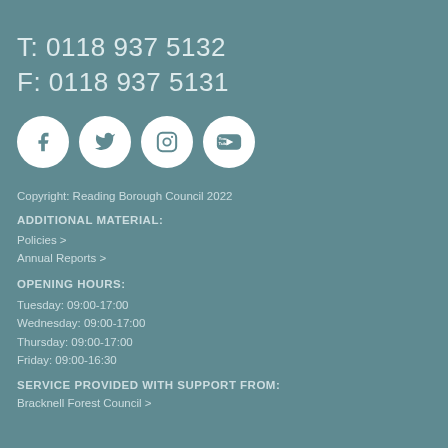T: 0118 937 5132
F: 0118 937 5131
[Figure (illustration): Four white circular social media icons: Facebook, Twitter, Instagram, YouTube]
Copyright: Reading Borough Council 2022
ADDITIONAL MATERIAL:
Policies >
Annual Reports >
OPENING HOURS:
Tuesday: 09:00-17:00
Wednesday: 09:00-17:00
Thursday: 09:00-17:00
Friday: 09:00-16:30
SERVICE PROVIDED WITH SUPPORT FROM:
Bracknell Forest Council >